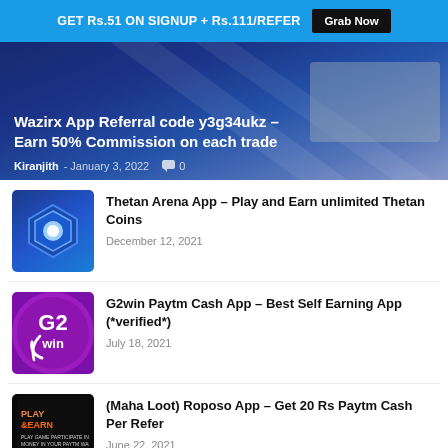GET Rs.51 ON SIGNUP + Rs.111/REFER  Grab Now
[Figure (screenshot): Wazirx App hero banner with dark blue background and decorative diagonal lines]
Wazirx App Referral code y3g34ukz – Earn 50% Commission on each trade
Kiranjith - January 3, 2022  💬 0
[Figure (illustration): Thetan Arena app logo – blue hexagonal design with glowing center]
Thetan Arena App – Play and Earn unlimited Thetan Coins
December 12, 2021
[Figure (illustration): G2win app logo – circular purple badge with G2win text]
G2win Paytm Cash App – Best Self Earning App (*verified*)
July 18, 2021
[Figure (screenshot): Play and Earn app thumbnail – dark background with colorful text]
(Maha Loot) Roposo App – Get 20 Rs Paytm Cash Per Refer
June 22, 2021
[Figure (screenshot): Local Vocal News App thumbnail – blue background]
Local Vocal News App – Refer and Earn Paytm